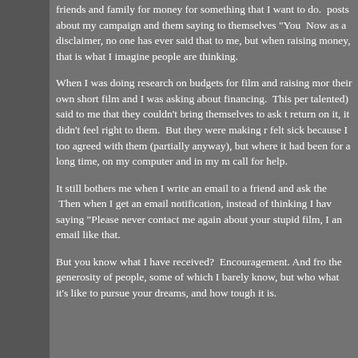friends and family for money for something that I want to do. posts about my campaign and them saying to themselves "You  Now as a disclaimer, no one has ever said that to me, but when raising money, that is what I imagine people are thinking.
When I was doing research on budgets for film and raising mor their own short film and I was asking about financing.  This per talented) said to me that they couldn't bring themselves to ask t return on it, it didn't feel right to them.  But they were making r felt sick because I too agreed with them (partially anyway), but where it had been for a long time, on my computer and in my m call for help.
It still bothers me when I write an email to a friend and ask the  Then when I get an email notification, instead of thinking I hav saying "Please never contact me again about your stupid film, I an email like that.
But you know what I have received?  Encouragement. And fro the generosity of people, some of which I barely know, but who what it's like to pursue your dreams, and how tough it is.